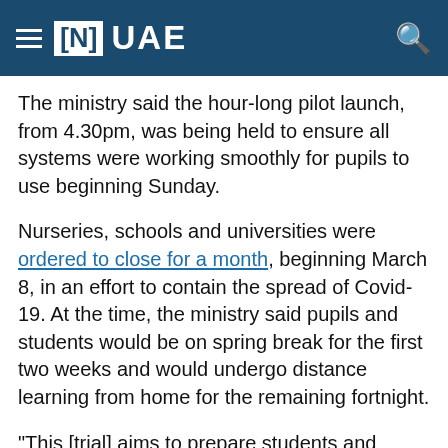≡ [N] UAE
The ministry said the hour-long pilot launch, from 4.30pm, was being held to ensure all systems were working smoothly for pupils to use beginning Sunday.
Nurseries, schools and universities were ordered to close for a month, beginning March 8, in an effort to contain the spread of Covid-19. At the time, the ministry said pupils and students would be on spring break for the first two weeks and would undergo distance learning from home for the remaining fortnight.
"This [trial] aims to prepare students and ensure the effectiveness of using the system